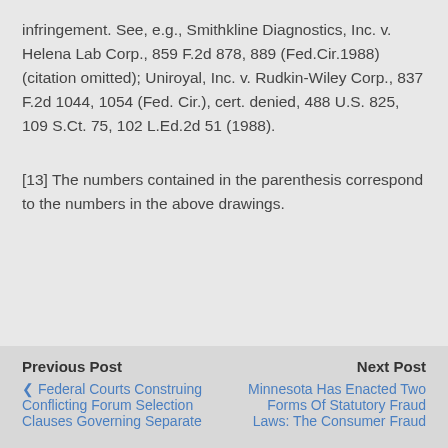infringement. See, e.g., Smithkline Diagnostics, Inc. v. Helena Lab Corp., 859 F.2d 878, 889 (Fed.Cir.1988) (citation omitted); Uniroyal, Inc. v. Rudkin-Wiley Corp., 837 F.2d 1044, 1054 (Fed. Cir.), cert. denied, 488 U.S. 825, 109 S.Ct. 75, 102 L.Ed.2d 51 (1988).
[13] The numbers contained in the parenthesis correspond to the numbers in the above drawings.
Previous Post | Federal Courts Construing Conflicting Forum Selection Clauses Governing Separate | Next Post | Minnesota Has Enacted Two Forms Of Statutory Fraud Laws: The Consumer Fraud